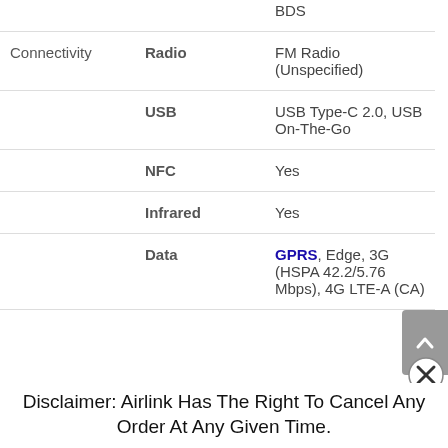| Category | Label | Value |
| --- | --- | --- |
|  |  | BDS |
| Connectivity | Radio | FM Radio (Unspecified) |
|  | USB | USB Type-C 2.0, USB On-The-Go |
|  | NFC | Yes |
|  | Infrared | Yes |
|  | Data | GPRS, Edge, 3G (HSPA 42.2/5.76 Mbps), 4G LTE-A (CA) |
Disclaimer: Airlink Has The Right To Cancel Any Order At Any Given Time.